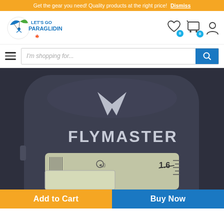Get the gear you need! Quality products at the right price! Dismiss
[Figure (logo): Let's Go Paragliding logo with paraglider icon in blue and green]
Search bar with placeholder: I'm shopping for...
[Figure (photo): Close-up of a Flymaster GPS/variometer device with dark gray rounded body, silver wing logo, FLYMASTER text, and LCD display showing 1.6]
Add to Cart
Buy Now